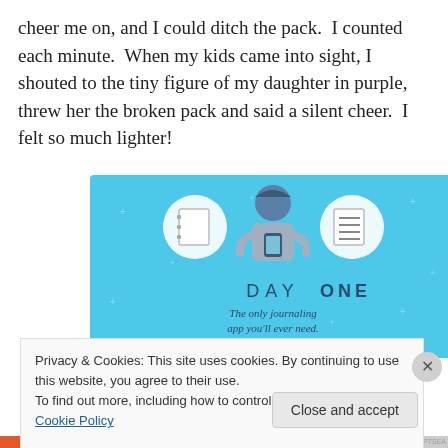cheer me on, and I could ditch the pack.  I counted each minute.  When my kids came into sight, I shouted to the tiny figure of my daughter in purple, threw her the broken pack and said a silent cheer.  I felt so much lighter!
[Figure (screenshot): Day One journaling app advertisement on a light blue background. Shows a cartoon person holding a phone with a notebook icon on the left and a list icon on the right. Text reads 'DAY ONE' and 'The only journaling app you'll ever need.']
Privacy & Cookies: This site uses cookies. By continuing to use this website, you agree to their use.
To find out more, including how to control cookies, see here: Cookie Policy
Close and accept